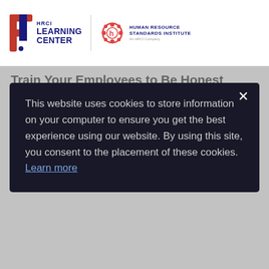[Figure (logo): HRCI Learning Center logo and Human Resource Standards Institute logo side by side]
This website uses cookies to store information on your computer to ensure you get the best experience using our website. By using this site, you consent to the placement of these cookies. Learn more
Train Your Employees to Be Honest About Their Needs
A common error in bereavement response is getting too investigative. Employers sometimes ask for “proof” that a loved one has died, or even that the employee was close to that person. Avoid this kind of investigation. If you don’t trust your employees in this regard, then there are